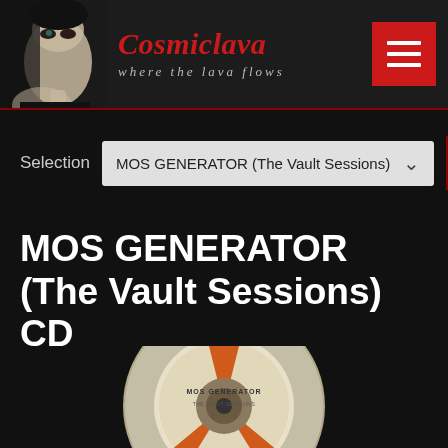Cosmiclava — where the lava flows
Selection: MOS GENERATOR (The Vault Sessions)
MOS GENERATOR (The Vault Sessions) CD
[Figure (photo): Album cover image showing a reel-to-reel tape with text MOS GENERATOR THE VAULT SESSIONS on the reel label, with red and orange tape spool segments visible]